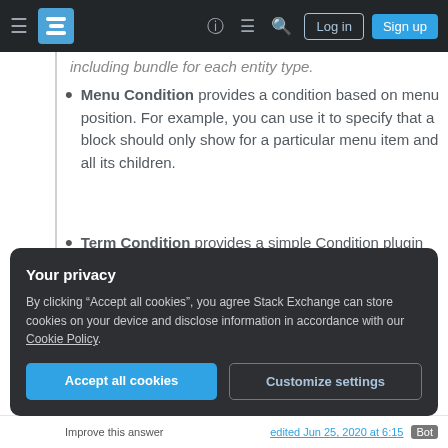Stack Exchange navigation bar with Log in and Sign up buttons
Menu Condition provides a condition based on menu position. For example, you can use it to specify that a block should only show for a particular menu item and all its children.
Term Condition provides a simple Condition plugin which checks to see if the current node has a specific taxonomy term.
Your privacy
By clicking "Accept all cookies", you agree Stack Exchange can store cookies on your device and disclose information in accordance with our Cookie Policy.
Accept all cookies   Customize settings